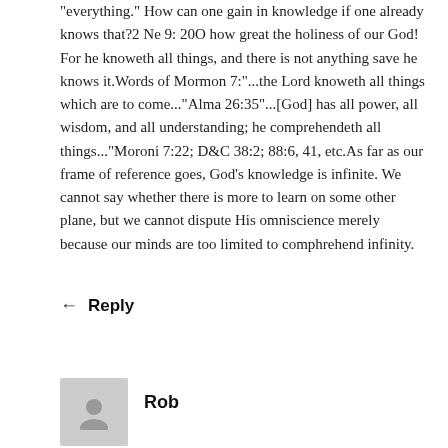"everything." How can one gain in knowledge if one already knows that?2 Ne 9: 20O how great the holiness of our God! For he knoweth all things, and there is not anything save he knows it.Words of Mormon 7:"...the Lord knoweth all things which are to come..."Alma 26:35"...[God] has all power, all wisdom, and all understanding; he comprehendeth all things..."Moroni 7:22; D&C 38:2; 88:6, 41, etc.As far as our frame of reference goes, God's knowledge is infinite. We cannot say whether there is more to learn on some other plane, but we cannot dispute His omniscience merely because our minds are too limited to comphrehend infinity.
Reply
Rob